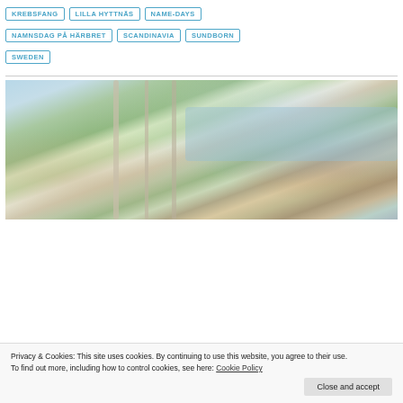KREBSFANG
LILLA HYTTNÄS
NAME-DAYS
NAMNSDAG PÅ HÄRBRET
SCANDINAVIA
SUNDBORN
SWEDEN
[Figure (illustration): A watercolor illustration showing children fishing by a lakeside, with birch trees in the foreground, water in the background, and figures on a dock at right. Nordic landscape style reminiscent of Carl Larsson artwork.]
Privacy & Cookies: This site uses cookies. By continuing to use this website, you agree to their use.
To find out more, including how to control cookies, see here: Cookie Policy
Close and accept